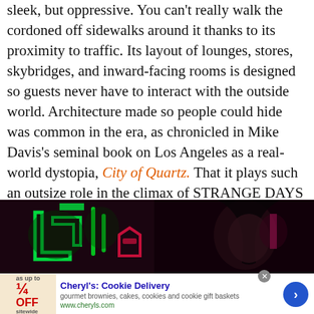sleek, but oppressive. You can't really walk the cordoned off sidewalks around it thanks to its proximity to traffic. Its layout of lounges, stores, skybridges, and inward-facing rooms is designed so guests never have to interact with the outside world. Architecture made so people could hide was common in the era, as chronicled in Mike Davis's seminal book on Los Angeles as a real-world dystopia, City of Quartz. That it plays such an outsize role in the climax of STRANGE DAYS is surely no accident.
[Figure (photo): Dark film still showing neon signs (green, red) on left and a person with braids on the right, set against a dark background]
Cheryl's: Cookie Delivery
gourmet brownies, cakes, cookies and cookie gift baskets
www.cheryls.com